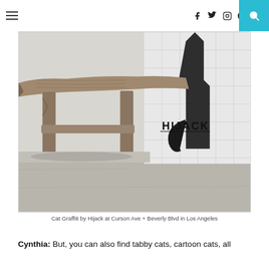Navigation header with hamburger menu, social icons (facebook, twitter, instagram, pinterest, rss), and search button
[Figure (photo): Photo of a rustic wooden bench against a white tiled wall with black cat graffiti by artist Hijack. The graffiti shows a cat silhouette peeking out from behind the bench. The word 'HIJACK' is stenciled in bold letters on the white wall. The bench has a natural live-edge wood slab top with rough wooden legs, sitting on a concrete sidewalk.]
Cat Graffiti by Hijack at Curson Ave + Beverly Blvd in Los Angeles
Cynthia: But, you can also find tabby cats, cartoon cats, all